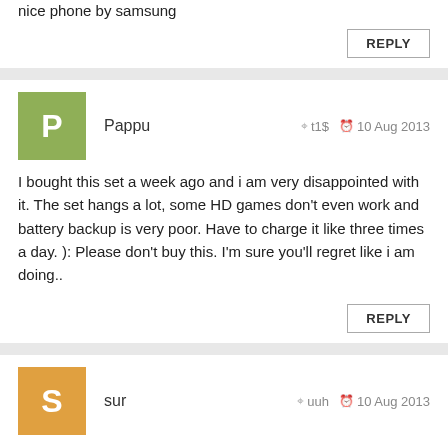nice phone by samsung
REPLY
Pappu   t1$   10 Aug 2013
I bought this set a week ago and i am very disappointed with it. The set hangs a lot, some HD games don't even work and battery backup is very poor. Have to charge it like three times a day. ): Please don't buy this. I'm sure you'll regret like i am doing..
REPLY
sur   uuh   10 Aug 2013
battrey pack up is very poor..